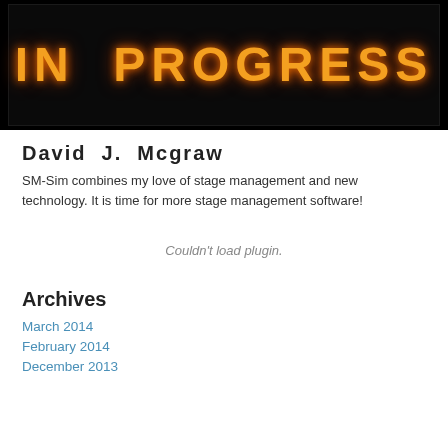[Figure (photo): A dark illuminated sign showing 'IN PROGRESS' in large orange/amber letters on a black background]
David J. Mcgraw
SM-Sim combines my love of stage management and new technology. It is time for more stage management software!
Couldn't load plugin.
Archives
March 2014
February 2014
December 2013